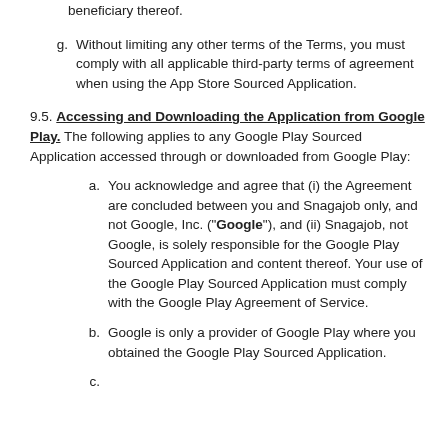g. Without limiting any other terms of the Terms, you must comply with all applicable third-party terms of agreement when using the App Store Sourced Application.
9.5. Accessing and Downloading the Application from Google Play. The following applies to any Google Play Sourced Application accessed through or downloaded from Google Play:
a. You acknowledge and agree that (i) the Agreement are concluded between you and Snagajob only, and not Google, Inc. (“Google”), and (ii) Snagajob, not Google, is solely responsible for the Google Play Sourced Application and content thereof. Your use of the Google Play Sourced Application must comply with the Google Play Agreement of Service.
b. Google is only a provider of Google Play where you obtained the Google Play Sourced Application.